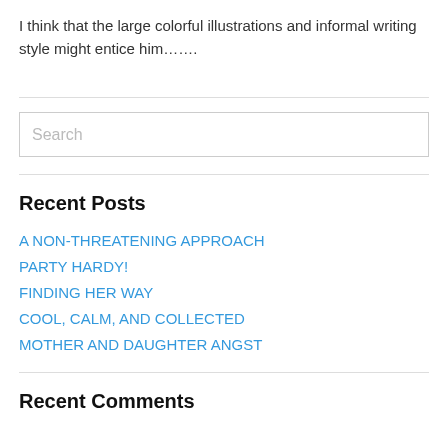I think that the large colorful illustrations and informal writing style might entice him…….
Recent Posts
A NON-THREATENING APPROACH
PARTY HARDY!
FINDING HER WAY
COOL, CALM, AND COLLECTED
MOTHER AND DAUGHTER ANGST
Recent Comments